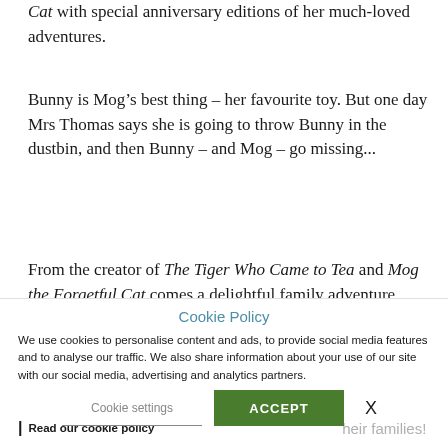Cat with special anniversary editions of her much-loved adventures.
Bunny is Mog’s best thing – her favourite toy. But one day Mrs Thomas says she is going to throw Bunny in the dustbin, and then Bunny – and Mog – go missing...
From the creator of The Tiger Who Came to Tea and Mog the Forgetful Cat comes a delightful family adventure about a really remarkable cat.
Cookie Policy
We use cookies to personalise content and ads, to provide social media features and to analyse our traffic. We also share information about your use of our site with our social media, advertising and analytics partners.
Read our cookie policy
Cookie settings
ACCEPT
X